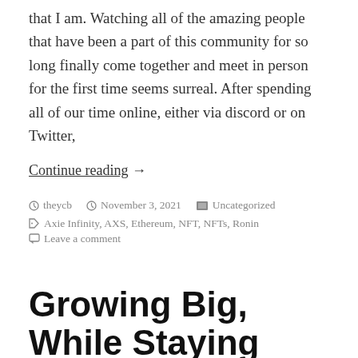that I am. Watching all of the amazing people that have been a part of this community for so long finally come together and meet in person for the first time seems surreal. After spending all of our time online, either via discord or on Twitter,
Continue reading →
theycb  November 3, 2021  Uncategorized  Axie Infinity, AXS, Ethereum, NFT, NFTs, Ronin  Leave a comment
Growing Big, While Staying Small